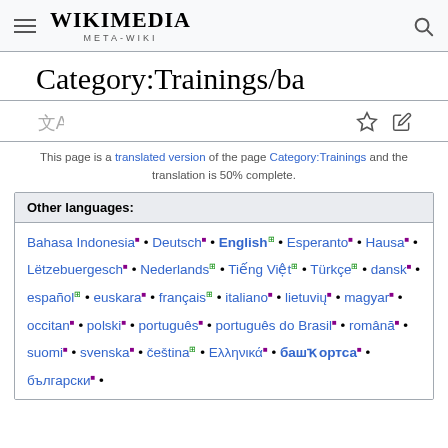WIKIMEDIA META-WIKI
Category:Trainings/ba
This page is a translated version of the page Category:Trainings and the translation is 50% complete.
Other languages:
Bahasa Indonesia • Deutsch • English • Esperanto • Hausa • Lëtzebuergesch • Nederlands • Tiếng Việt • Türkçe • dansk • español • euskara • français • italiano • lietuvių • magyar • occitan • polski • português • português do Brasil • română • suomi • svenska • čeština • Ελληνικά • башҡортса • български •